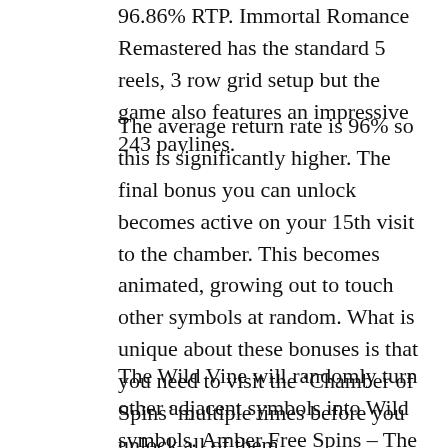96.86% RTP. Immortal Romance Remastered has the standard 5 reels, 3 row grid setup but the game also features an impressive 243 paylines.
The average return rate is 96% so this is significantly higher. The final bonus you can unlock becomes active on your 15th visit to the chamber. This becomes animated, growing out to touch other symbols at random. What is unique about these bonuses is that you need to visit the ‘Chamber of Spins’ multiple times before you unlock all of them.
The Wild Vine will randomly turn other adjacent symbols into Wild symbols. Amber Free Spins – The first set of free spins made available to you are the Amber Free Spins. This feature can be re-triggered through the scatter symbols. You’ll need to make an account and deposit money into it first. But of course, we can't pretend like this real money game is anything but about the bonus. 3 scatters are all you